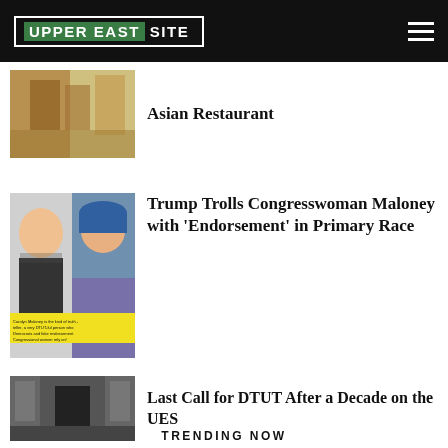UPPER EAST SITE
Asian Restaurant
[Figure (photo): Exterior photo of an Asian restaurant]
Trump Trolls Congresswoman Maloney with 'Endorsement' in Primary Race
[Figure (photo): Side-by-side of Trump and Carolyn Maloney with yellow text overlay]
Last Call for DTUT After a Decade on the UES
[Figure (photo): Exterior of DTUT coffee shop storefront]
TRENDING NOW